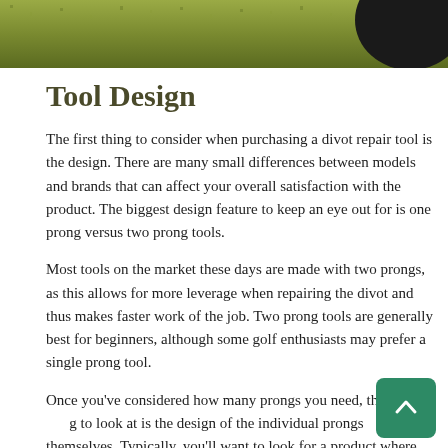[Figure (photo): Top portion of a photo showing a golf green with grass and a dark object (possibly a golf ball or tool) in the upper right corner.]
Tool Design
The first thing to consider when purchasing a divot repair tool is the design. There are many small differences between models and brands that can affect your overall satisfaction with the product. The biggest design feature to keep an eye out for is one prong versus two prong tools.
Most tools on the market these days are made with two prongs, as this allows for more leverage when repairing the divot and thus makes faster work of the job. Two prong tools are generally best for beginners, although some golf enthusiasts may prefer a single prong tool.
Once you've considered how many prongs you need, the next thing to look at is the design of the individual prongs themselves. Typically, you'll want to look for a product where the prongs are